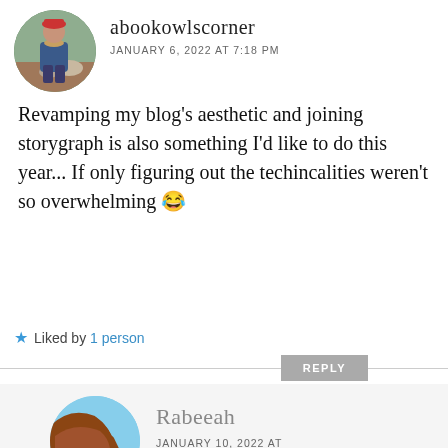[Figure (photo): Circular avatar photo of a person wearing a red hat and blue jacket outdoors]
abookowlscorner
JANUARY 6, 2022 AT 7:18 PM
Revamping my blog's aesthetic and joining storygraph is also something I'd like to do this year... If only figuring out the techincalities weren't so overwhelming 😂
★ Liked by 1 person
REPLY
[Figure (photo): Circular avatar photo showing a brown and blue background image (partially visible)]
Rabeeah
JANUARY 10, 2022 AT 1:29 PM